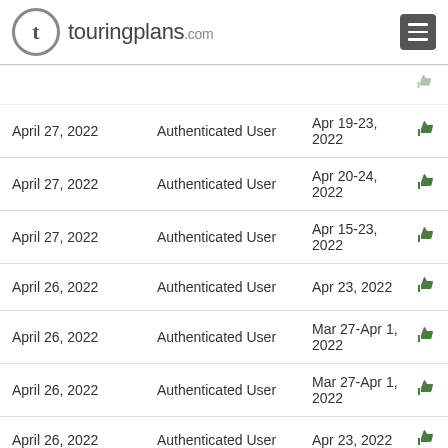touringplans.com
| Date | User | Visit Dates | Rating |
| --- | --- | --- | --- |
| April 27, 2022 | Authenticated User | Apr 19-23, 2022 | thumbs-up |
| April 27, 2022 | Authenticated User | Apr 20-24, 2022 | thumbs-up |
| April 27, 2022 | Authenticated User | Apr 15-23, 2022 | thumbs-up |
| April 26, 2022 | Authenticated User | Apr 23, 2022 | thumbs-up |
| April 26, 2022 | Authenticated User | Mar 27-Apr 1, 2022 | thumbs-up |
| April 26, 2022 | Authenticated User | Mar 27-Apr 1, 2022 | thumbs-up |
| April 26, 2022 | Authenticated User | Apr 23, 2022 | thumbs-up |
| April 26, 2022 | Authenticated User | Apr 17-23, 2022 | thumbs-down |
| April 26, 2022 | Authenticated User | Apr 16-23, 2022 | thumbs-down |
| April 26, 2022 | Authenticated User | Apr 18-20, 2022 | thumbs-up |
| April 25, 2022 | Anonymous | Apr 9-16, 2022 | thumbs-up |